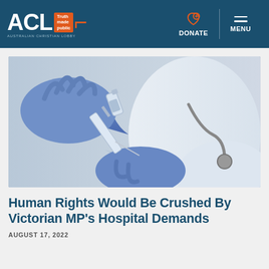ACL - Australian Christian Lobby | Truth made public | DONATE | MENU
[Figure (photo): A healthcare worker in blue latex gloves and white lab coat with stethoscope drawing liquid from a vial into a syringe, set against a light blue-grey background.]
Human Rights Would Be Crushed By Victorian MP's Hospital Demands
AUGUST 17, 2022